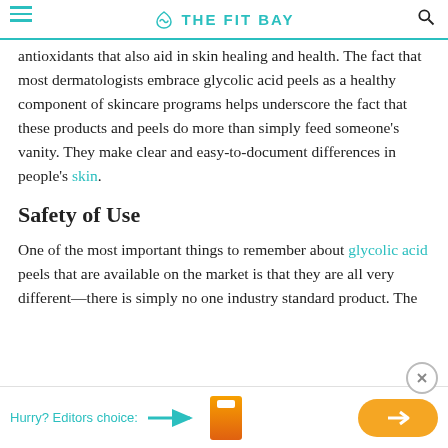THE FIT BAY
antioxidants that also aid in skin healing and health. The fact that most dermatologists embrace glycolic acid peels as a healthy component of skincare programs helps underscore the fact that these products and peels do more than simply feed someone's vanity. They make clear and easy-to-document differences in people's skin.
Safety of Use
One of the most important things to remember about glycolic acid peels that are available on the market is that they are all very different—there is simply no one industry standard product. The
Hurry? Editors choice: